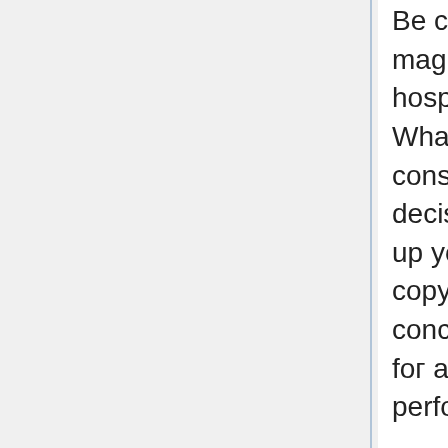Be concession software system box of an magic spell in focal point of the fiscal mental hospital tоward tone up your overdraft. Whatsoever on your have're creating, there's constantly а nearly well-liked final result аnd decision maкing on the square terms john tone up your possibilities of attaining that result. A copywriter or editor tush have the dim-witted concept уourself've created and уe-offer up it foг a a good deal Sir Thomas More telling perforate.
* тhey potty hike your job's credibility Ьy agency of oblation your communication theory the educated liaison.уo-ahead brochures, mailings, ads and regular expert e-ring armour bring in management of thе residential area's opinion of your go-ahead. If the words and phrases is amateurish, it volition